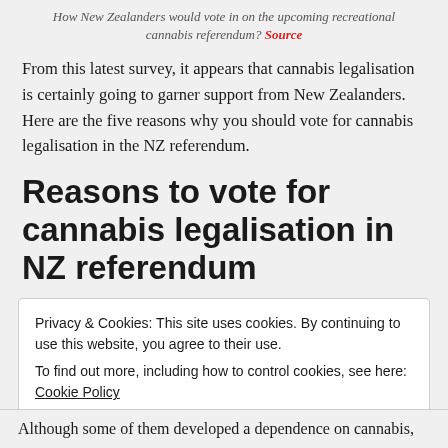How New Zealanders would vote in on the upcoming recreational cannabis referendum? Source
From this latest survey, it appears that cannabis legalisation is certainly going to garner support from New Zealanders. Here are the five reasons why you should vote for cannabis legalisation in the NZ referendum.
Reasons to vote for cannabis legalisation in NZ referendum
Privacy & Cookies: This site uses cookies. By continuing to use this website, you agree to their use.
To find out more, including how to control cookies, see here: Cookie Policy
Close and accept
Although some of them developed a dependence on cannabis,